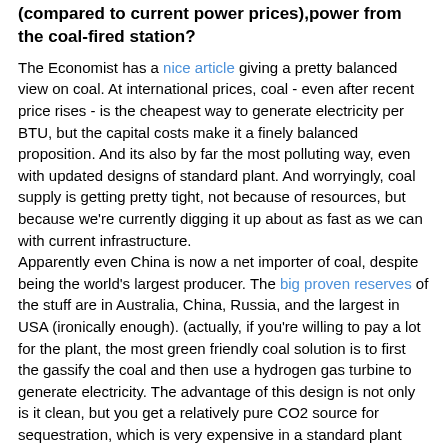(compared to current power prices),power from the coal-fired station?
The Economist has a nice article giving a pretty balanced view on coal. At international prices, coal - even after recent price rises - is the cheapest way to generate electricity per BTU, but the capital costs make it a finely balanced proposition. And its also by far the most polluting way, even with updated designs of standard plant. And worryingly, coal supply is getting pretty tight, not because of resources, but because we're currently digging it up about as fast as we can with current infrastructure.
Apparently even China is now a net importer of coal, despite being the world's largest producer. The big proven reserves of the stuff are in Australia, China, Russia, and the largest in USA (ironically enough). (actually, if you're willing to pay a lot for the plant, the most green friendly coal solution is to first the gassify the coal and then use a hydrogen gas turbine to generate electricity. The advantage of this design is not only is it clean, but you get a relatively pure CO2 source for sequestration, which is very expensive in a standard plant because most of the flue gas is Nitrogen. But I suspect its waaaay to expensive for Oman...)